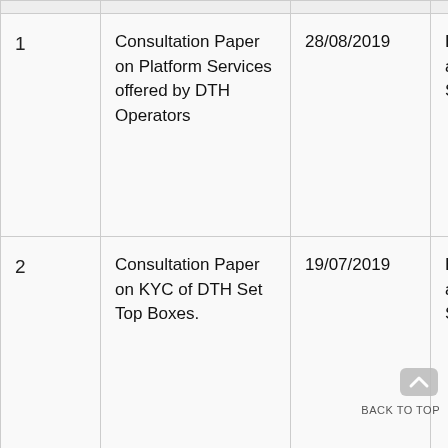| No. | Title | Date | Subject |
| --- | --- | --- | --- |
| 1 | Consultation Paper on Platform Services offered by DTH Operators | 28/08/2019 | Broadca... and Cab... Services... |
| 2 | Consultation Paper on KYC of DTH Set Top Boxes. | 19/07/2019 | Broadca... and Cab... Services... |
| 3 | Consultation Note | 11/08/2017 | Broadca... |